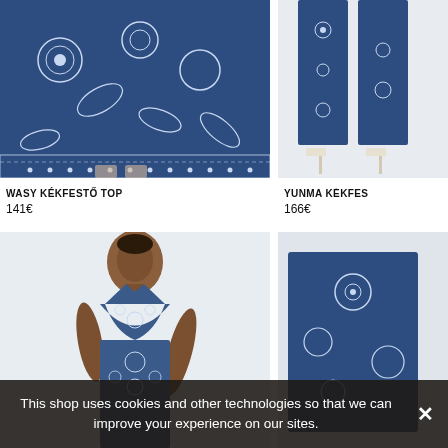[Figure (photo): Model wearing blue and white kékfestő printed maxi skirt/top, large floral folk pattern, lower body shot]
[Figure (photo): Model wearing blue and white kékfestő printed pants, lower body and heels visible]
WASY KÉKFESTŐ TOP
141€
YUNMA KÉKFES
166€
[Figure (photo): Model wearing blue kékfestő halter top, upper body, dark-skinned woman]
[Figure (photo): Partial product image, right side, partially obscured by cookie bar]
This shop uses cookies and other technologies so that we can improve your experience on our sites.